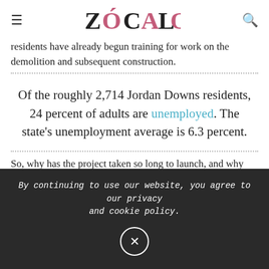Zócalo
residents have already begun training for work on the demolition and subsequent construction.
Of the roughly 2,714 Jordan Downs residents, 24 percent of adults are unemployed. The state's unemployment average is 6.3 percent.
So, why has the project taken so long to launch, and why
By continuing to use our website, you agree to our privacy and cookie policy.